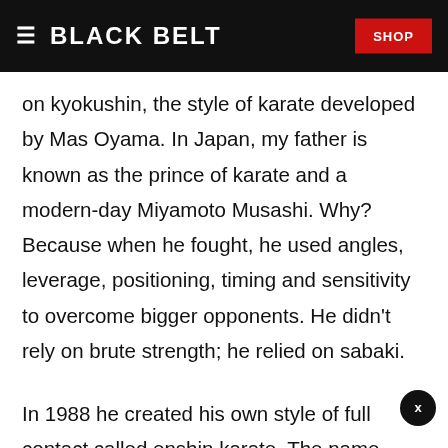BLACK BELT | SHOP
on kyokushin, the style of karate developed by Mas Oyama. In Japan, my father is known as the prince of karate and a modern-day Miyamoto Musashi. Why? Because when he fought, he used angles, leverage, positioning, timing and sensitivity to overcome bigger opponents. He didn't rely on brute strength; he relied on sabaki.
In 1988 he created his own style of full contact called enshin karate. The name means "heart of the circle." Enshin signifies not only the spiraling nature of sabaki techniques but also the authentic connection between ourselves and others, as well...